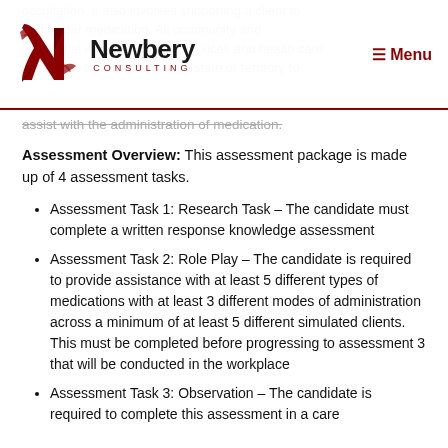Newbery Consulting — Menu
assist with the administration of medication.
Assessment Overview: This assessment package is made up of 4 assessment tasks.
Assessment Task 1: Research Task – The candidate must complete a written response knowledge assessment
Assessment Task 2: Role Play – The candidate is required to provide assistance with at least 5 different types of medications with at least 3 different modes of administration across a minimum of at least 5 different simulated clients. This must be completed before progressing to assessment 3 that will be conducted in the workplace
Assessment Task 3: Observation – The candidate is required to complete this assessment in a care